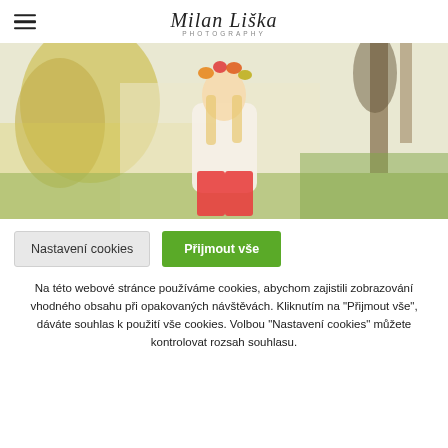Milan Liška Photography
[Figure (photo): Young woman with floral crown wearing white sweater and red pants, standing outdoors in a soft-focus autumn landscape with yellow trees and green fields.]
Nastavení cookies   Přijmout vše
Na této webové stránce používáme cookies, abychom zajistili zobrazování vhodného obsahu při opakovaných návštěvách. Kliknutím na "Přijmout vše", dáváte souhlas k použití vše cookies. Volbou "Nastavení cookies" můžete kontrolovat rozsah souhlasu.